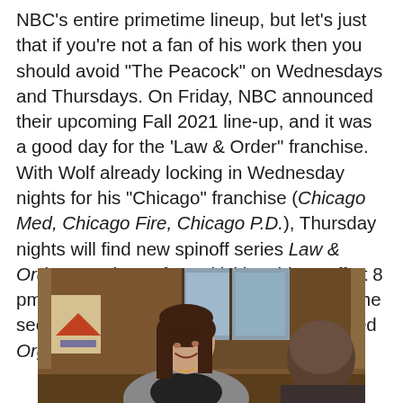NBC's entire primetime lineup, but let's just that if you're not a fan of his work then you should avoid "The Peacock" on Wednesdays and Thursdays. On Friday, NBC announced their upcoming Fall 2021 line-up, and it was a good day for the 'Law & Order" franchise. With Wolf already locking in Wednesday nights for his "Chicago" franchise (Chicago Med, Chicago Fire, Chicago P.D.), Thursday nights will find new spinoff series Law & Order: For the Defense kicking things off at 8 pm ET, followed by SVU at 9 pm ET, with the second season of the now officially renewed Organized Crime anchoring at 10 pm ET.
[Figure (photo): A woman with brown hair smiling and looking down, seated at a table, wearing a grey blazer over a dark top, with another person visible from behind on the right side. The setting appears to be an indoor location with wooden elements and a window in the background.]